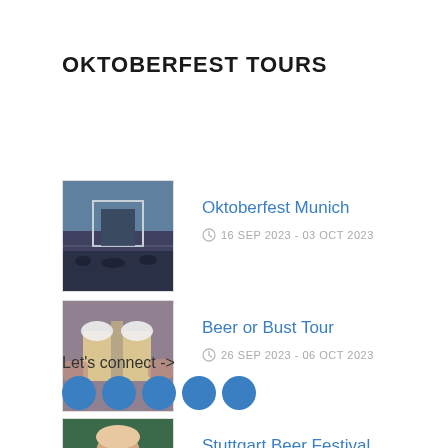OKTOBERFEST TOURS
Oktoberfest Munich
16 SEP 2023 - 03 OCT 2023
Beer or Bust Tour
26 SEP 2023 - 06 OCT 2023
Stuttgart Beer Festival
22 SEP 2023 - 08 OCT 2023
Let's connect ->